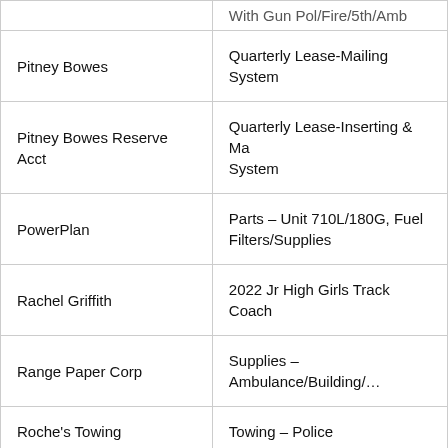|  | With Gun Pol/Fire/5th/Amb |
| Pitney Bowes | Quarterly Lease-Mailing System |
| Pitney Bowes Reserve Acct | Quarterly Lease-Inserting & Ma System |
| PowerPlan | Parts – Unit 710L/180G, Fuel Filters/Supplies |
| Rachel Griffith | 2022 Jr High Girls Track Coach |
| Range Paper Corp | Supplies – Ambulance/Building/… |
| Roche's Towing | Towing – Police |
| Rusty Blais | Boot Allowance |